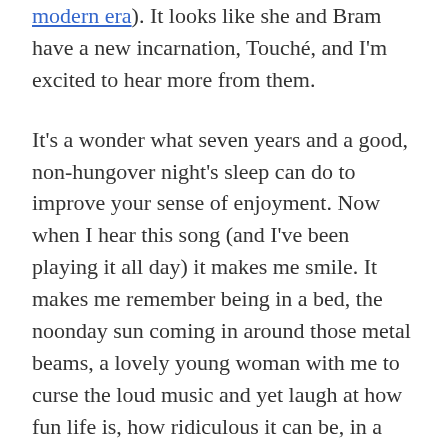modern era). It looks like she and Bram have a new incarnation, Touché, and I'm excited to hear more from them.
It's a wonder what seven years and a good, non-hungover night's sleep can do to improve your sense of enjoyment. Now when I hear this song (and I've been playing it all day) it makes me smile. It makes me remember being in a bed, the noonday sun coming in around those metal beams, a lovely young woman with me to curse the loud music and yet laugh at how fun life is, how ridiculous it can be, in a world where people would pay money to put a screen in